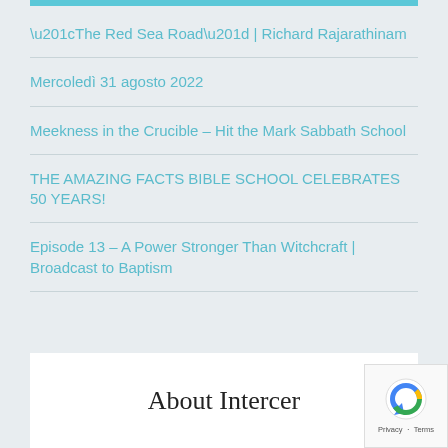“The Red Sea Road” | Richard Rajarathinam
Mercoledì 31 agosto 2022
Meekness in the Crucible – Hit the Mark Sabbath School
THE AMAZING FACTS BIBLE SCHOOL CELEBRATES 50 YEARS!
Episode 13 – A Power Stronger Than Witchcraft | Broadcast to Baptism
About Intercer